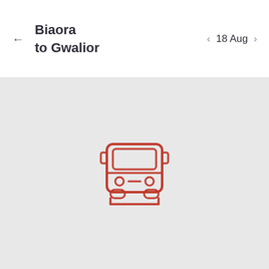Biaora to Gwalior
18 Aug
[Figure (illustration): Front-view bus icon rendered in red outline style on a light gray background, centered in the content area below the header.]